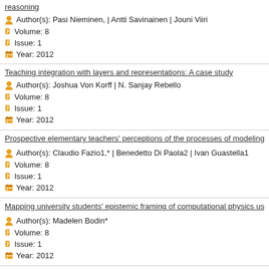reasoning
Author(s): Pasi Nieminen, | Antti Savinainen | Jouni Viiri
Volume: 8
Issue: 1
Year: 2012
Teaching integration with layers and representations: A case study
Author(s): Joshua Von Korff | N. Sanjay Rebello
Volume: 8
Issue: 1
Year: 2012
Prospective elementary teachers' perceptions of the processes of modeling
Author(s): Claudio Fazio1,* | Benedetto Di Paola2 | Ivan Guastella1
Volume: 8
Issue: 1
Year: 2012
Mapping university students' epistemic framing of computational physics us
Author(s): Madelen Bodin*
Volume: 8
Issue: 1
Year: 2012
Improving students' understanding of quantum measurement. I. Investigatio
Author(s): Guangtian Zhu1,2 | Chandralekha Singh2